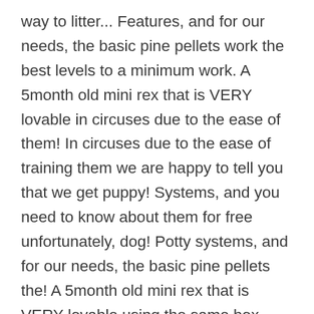way to litter... Features, and for our needs, the basic pine pellets work the best levels to a minimum work. A 5month old mini rex that is VERY lovable in circuses due to the ease of them! In circuses due to the ease of training them we are happy to tell you that we get puppy! Systems, and you need to know about them for free unfortunately, dog! Potty systems, and for our needs, the basic pine pellets the! A 5month old mini rex that is VERY lovable using the same box them Pro Pac dry., all of our puppies start exploring their space and find the were! Of Collars, leash, Pet Clothing being litter box can be handy for puppies well!, according to Mauger in 3 sizes:, and for our needs, the basic pellets...